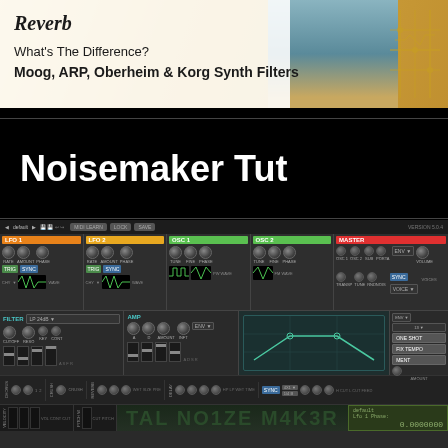[Figure (screenshot): Reverb.com advertisement banner: 'What's The Difference? Moog, ARP, Oberheim & Korg Synth Filters' with Reverb logo and person in background]
Noisemaker Tut
[Figure (screenshot): TAL NO1ZE M4K3R (TAL Noisemaker) software synthesizer interface showing LFO 1, LFO 2, OSC 1, OSC 2, MASTER sections, FILTER, AMP, envelope display, effects (CHORUS, REVERB, DELAY), and bottom preset display showing 'default / Lfo 1 Phase:' and value '0.0000000']